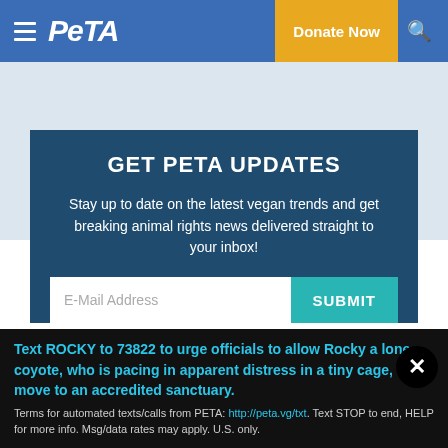PETA — Donate Now
GET PETA UPDATES
Stay up to date on the latest vegan trends and get breaking animal rights news delivered straight to your inbox!
E-Mail Address  SUBMIT
Text ROCKY to 73822 to urge officials to allow Rocky a lone coyote, who is pacing in apparent distress in a tiny cage, to move to an accredited sanctuary.
Terms for automated texts/calls from PETA: http://peta.vg/txt. Text STOP to end, HELP for more info. Msg/data rates may apply. U.S. only.